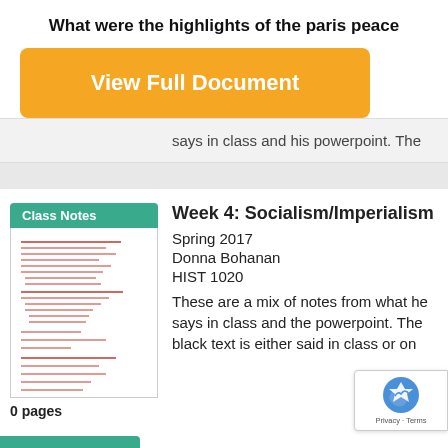What were the highlights of the paris peace
View Full Document
says in class and his powerpoint. The
[Figure (screenshot): Class Notes document thumbnail showing red text on white background]
0 pages
Week 4: Socialism/Imperialism
Spring 2017
Donna Bohanan
HIST 1020
These are a mix of notes from what he says in class and the powerpoint. The black text is either said in class or on